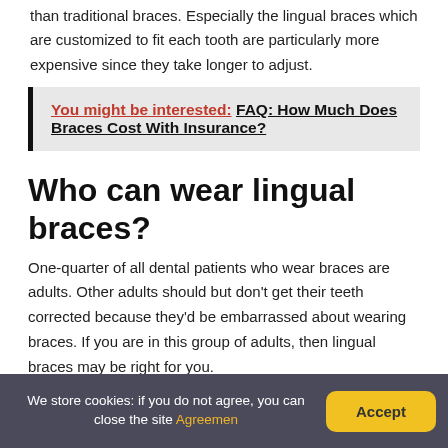than traditional braces. Especially the lingual braces which are customized to fit each tooth are particularly more expensive since they take longer to adjust.
You might be interested:  FAQ: How Much Does Braces Cost With Insurance?
Who can wear lingual braces?
One-quarter of all dental patients who wear braces are adults. Other adults should but don't get their teeth corrected because they'd be embarrassed about wearing braces. If you are in this group of adults, then lingual braces may be right for you.
We store cookies: if you do not agree, you can close the site Agreemen  Accept